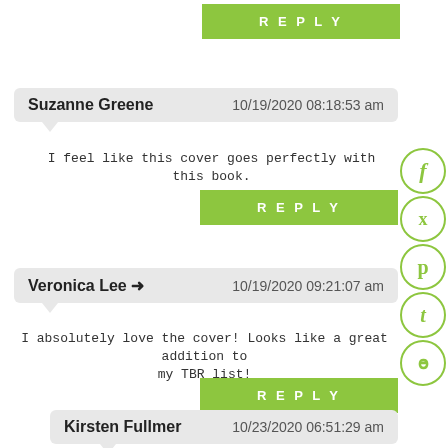[Figure (other): Green REPLY button at top right]
Suzanne Greene   10/19/2020 08:18:53 am
I feel like this cover goes perfectly with this book.
[Figure (other): Green REPLY button]
Veronica Lee →   10/19/2020 09:21:07 am
I absolutely love the cover! Looks like a great addition to my TBR list!
[Figure (other): Green REPLY button]
Kirsten Fullmer   10/23/2020 06:51:29 am